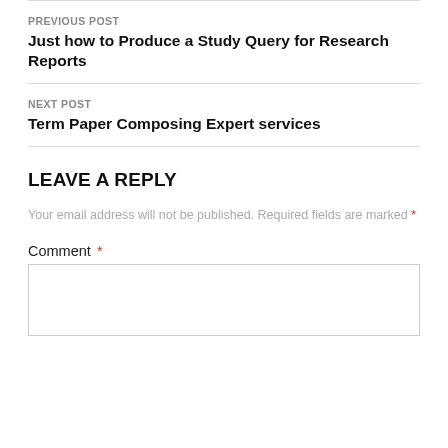PREVIOUS POST
Just how to Produce a Study Query for Research Reports
NEXT POST
Term Paper Composing Expert services
LEAVE A REPLY
Your email address will not be published. Required fields are marked *
Comment *